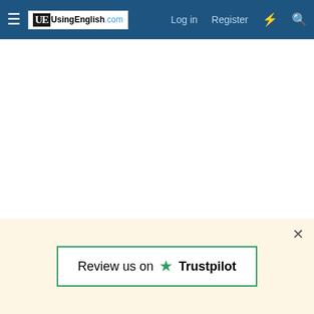UsingEnglish.com — Log in | Register
[Figure (screenshot): Advertisement area 1 (blank white space)]
[Figure (screenshot): Advertisement area 2 (blank white space)]
SoothingDave
VIP Member
Joined: Apr 17, 2009
Member Type: Interested in Language
Native Language: American English
Home Country: United States
Current Location: United States
Nov 2, 2012
Review us on Trustpilot